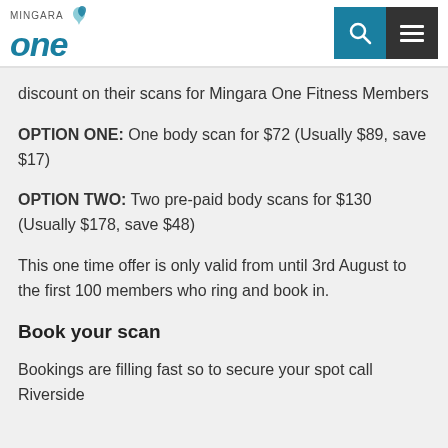Mingara One
discount on their scans for Mingara One Fitness Members
OPTION ONE: One body scan for $72 (Usually $89, save $17)
OPTION TWO: Two pre-paid body scans for $130 (Usually $178, save $48)
This one time offer is only valid from until 3rd August to the first 100 members who ring and book in.
Book your scan
Bookings are filling fast so to secure your spot call Riverside